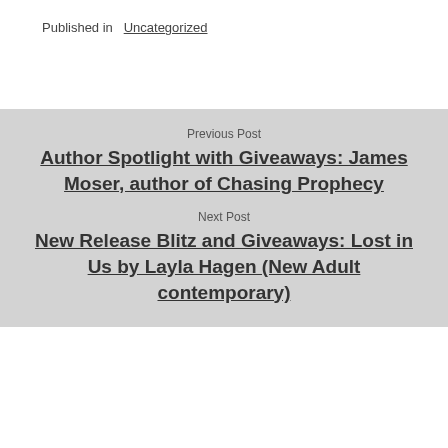Published in Uncategorized
Previous Post
Author Spotlight with Giveaways: James Moser, author of Chasing Prophecy
Next Post
New Release Blitz and Giveaways: Lost in Us by Layla Hagen (New Adult contemporary)